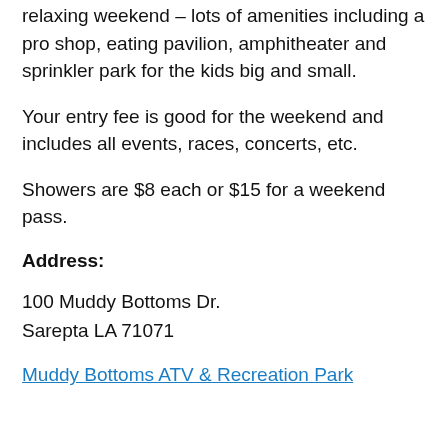relaxing weekend – lots of amenities including a pro shop, eating pavilion, amphitheater and sprinkler park for the kids big and small.
Your entry fee is good for the weekend and includes all events, races, concerts, etc.
Showers are $8 each or $15 for a weekend pass.
Address:
100 Muddy Bottoms Dr.
Sarepta LA 71071
Muddy Bottoms ATV & Recreation Park